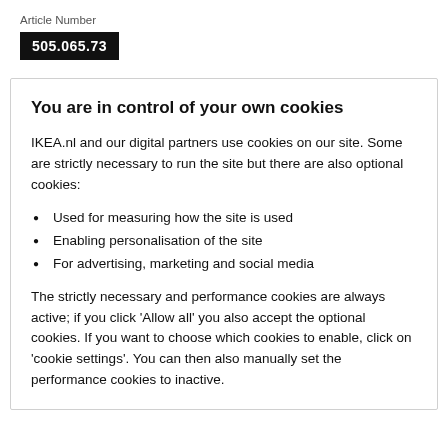Article Number
505.065.73
You are in control of your own cookies
IKEA.nl and our digital partners use cookies on our site. Some are strictly necessary to run the site but there are also optional cookies:
Used for measuring how the site is used
Enabling personalisation of the site
For advertising, marketing and social media
The strictly necessary and performance cookies are always active; if you click 'Allow all' you also accept the optional cookies. If you want to choose which cookies to enable, click on 'cookie settings'. You can then also manually set the performance cookies to inactive.